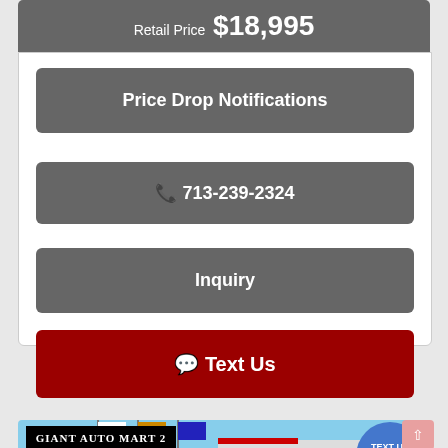Retail Price  $18,995
Price Drop Notifications
713-239-2324
Inquiry
Text Us
[Figure (photo): Giant Auto Mart 2 dealership banner with flags and a blue circle badge saying TEXT US NOW, with a red Text Us button overlay]
Text Us